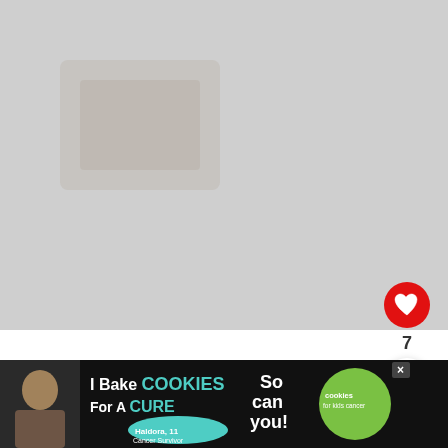[Figure (photo): Large food/recipe photo occupying most of the upper portion of the page, partially obscured/loading]
[Figure (illustration): Red circular heart/like button with white heart icon]
7
[Figure (illustration): White circular share button with share icon]
WHAT'S NEXT → Coconut Cream Pie...
1 Comment
[Figure (screenshot): Advertisement banner: I Bake COOKIES For A CURE – Haldora, 11 Cancer Survivor – So can you! – cookies for kids cancer – with girl image and X close button]